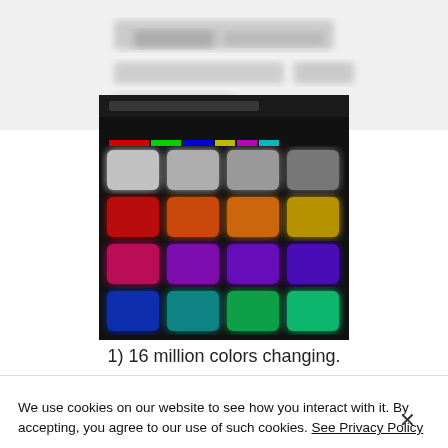[Figure (screenshot): Blurred screenshot of a webpage header with text and logo, shown at top of page]
[Figure (screenshot): Screenshot of a color grid panel on black background, showing 5 rows and 4 columns of colored illuminated squares: row 1 grayscale whites/grays, row 2 red/orange/orange/yellow, row 3 pink/purple/purple/blue-purple, row 4 blue/teal/green/green, row 5 green/yellow/brown/white]
1) 16 million colors changing.
We use cookies on our website to see how you interact with it. By accepting, you agree to our use of such cookies. See Privacy Policy
Cookie Settings
Accept